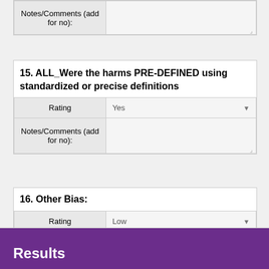| Notes/Comments (add for no): |  |
| --- | --- |
|  |  |
15. ALL_Were the harms PRE-DEFINED using standardized or precise definitions
| Rating | Yes |
| --- | --- |
| Notes/Comments (add for no): |  |
16. Other Bias:
| Rating | Low |
| --- | --- |
| Notes/Comments: |  |
Results